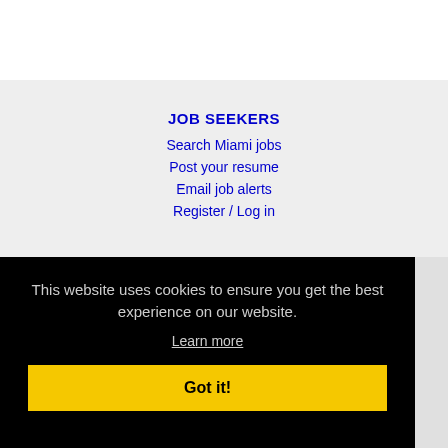JOB SEEKERS
Search Miami jobs
Post your resume
Email job alerts
Register / Log in
This website uses cookies to ensure you get the best experience on our website.
Learn more
Got it!